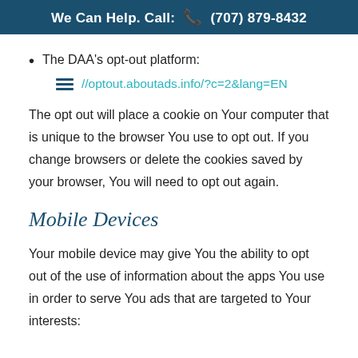We Can Help. Call: ☎ (707) 879-8432
The DAA’s opt-out platform:
//optout.aboutads.info/?c=2&lang=EN
The opt out will place a cookie on Your computer that is unique to the browser You use to opt out. If you change browsers or delete the cookies saved by your browser, You will need to opt out again.
Mobile Devices
Your mobile device may give You the ability to opt out of the use of information about the apps You use in order to serve You ads that are targeted to Your interests: